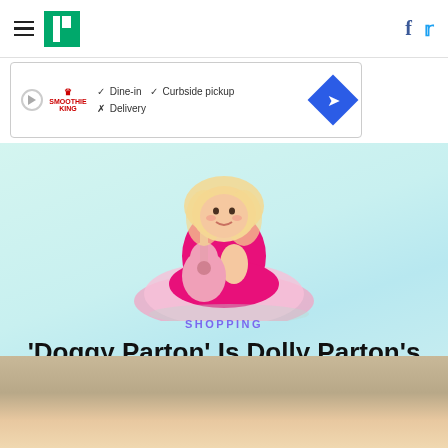HuffPost navigation bar with hamburger menu, logo, Facebook and Twitter icons
[Figure (screenshot): Advertisement banner: Smoothie King logo with play button, checkmarks for Dine-in and Curbside pickup, X for Delivery, blue diamond navigation icon]
[Figure (illustration): Dog toy dressed as Dolly Parton in pink tutu dress holding a guitar, on light blue/mint background]
SHOPPING
'Doggy Parton' Is Dolly Parton's New Line Of Dog Apparel, And It's Too Good To Believe
[Figure (photo): Close-up photo of a person's face, partially visible, bottom portion of the page]